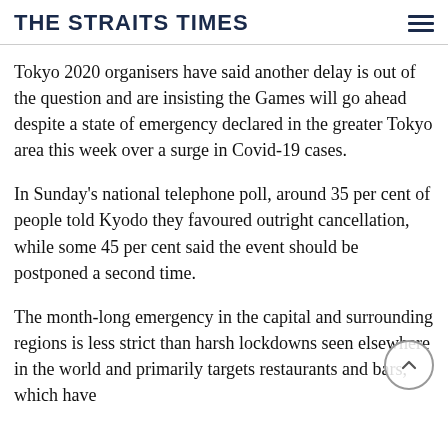THE STRAITS TIMES
Tokyo 2020 organisers have said another delay is out of the question and are insisting the Games will go ahead despite a state of emergency declared in the greater Tokyo area this week over a surge in Covid-19 cases.
In Sunday's national telephone poll, around 35 per cent of people told Kyodo they favoured outright cancellation, while some 45 per cent said the event should be postponed a second time.
The month-long emergency in the capital and surrounding regions is less strict than harsh lockdowns seen elsewhere in the world and primarily targets restaurants and bars, which have